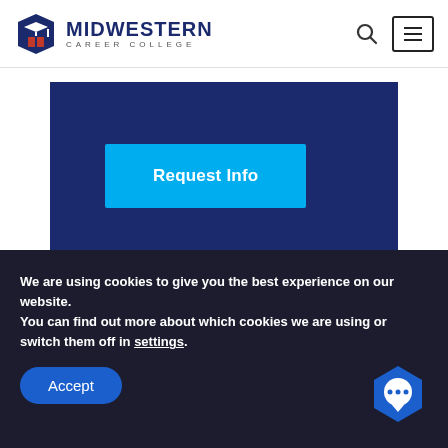[Figure (logo): Midwestern Career College logo with graduation cap and book icon]
[Figure (screenshot): Dark navy blue banner with a cyan 'Request Info' button]
We are using cookies to give you the best experience on our website.
You can find out more about which cookies we are using or switch them off in settings.
Accept